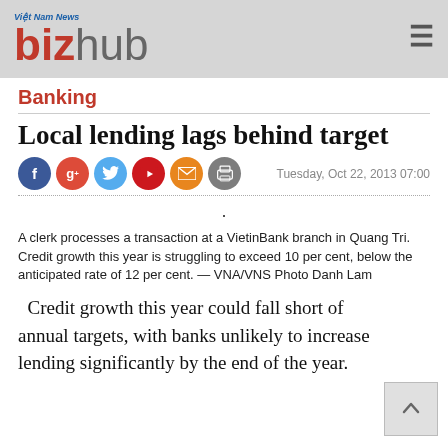Việt Nam News bizhub
Banking
Local lending lags behind target
Tuesday, Oct 22, 2013 07:00
A clerk processes a transaction at a VietinBank branch in Quang Tri. Credit growth this year is struggling to exceed 10 per cent, below the anticipated rate of 12 per cent. — VNA/VNS Photo Danh Lam
Credit growth this year could fall short of annual targets, with banks unlikely to increase lending significantly by the end of the year.